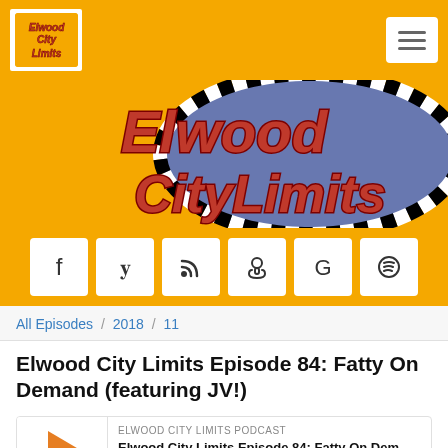[Figure (logo): Elwood City Limits podcast logo in top left navigation bar]
[Figure (illustration): Elwood City Limits podcast banner with large red stylized text on blue/purple background with film strip border, on orange background]
[Figure (infographic): Orange social media icons bar with Facebook, Twitter, RSS, Podcast, Google, Spotify buttons]
All Episodes / 2018 / 11
Elwood City Limits Episode 84: Fatty On Demand (featuring JV!)
ELWOOD CITY LIMITS PODCAST
Elwood City Limits Episode 84: Fatty On Dem...